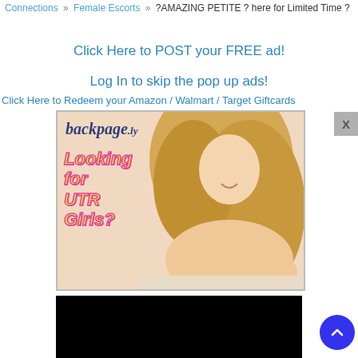Connections » Female Escorts » ?AMAZING PETITE ? here for Limited Time ?
Click Here to POST your FREE ad!
Log In to skip the pop up ads!
Click Here to Redeem your Amazon / Walmart / Target Giftcards
[Figure (screenshot): backpage.ly advertisement banner showing logo and 'Looking for UTR Girls?' text with a blonde woman photo]
[Figure (screenshot): Dark/black bottom banner advertisement]